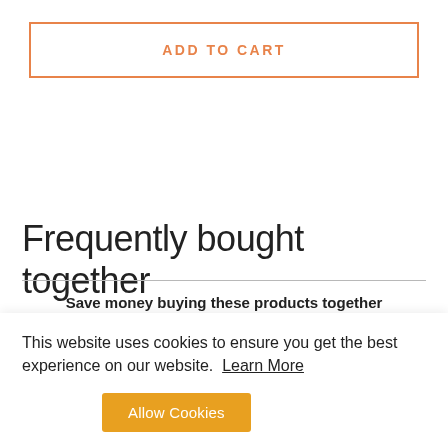ADD TO CART
Frequently bought together
Save money buying these products together
[Figure (photo): Product image: black garment with hardware details on grey background]
[Figure (photo): Product image: item with text/graphic design on light background]
This website uses cookies to ensure you get the best experience on our website.  Learn More
Allow Cookies